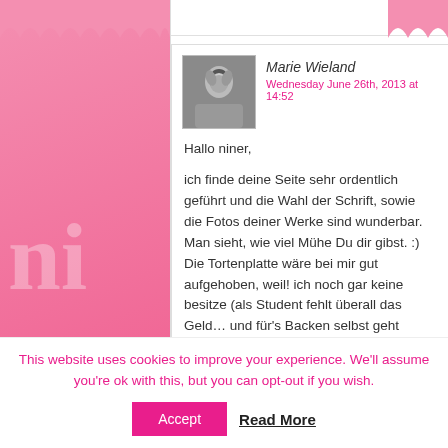[Figure (screenshot): Blog comment section screenshot with pink decorative background on sides and white content area in center]
Reply
Marie Wieland
Wednesday June 26th, 2013 at 14:52
Hallo niner,

ich finde deine Seite sehr ordentlich geführt und die Wahl der Schrift, sowie die Fotos deiner Werke sind wunderbar. Man sieht, wie viel Mühe Du dir gibst. :) Die Tortenplatte wäre bei mir gut aufgehoben, weil! ich noch gar keine besitze (als Student fehlt überall das Geld… und für's Backen selbst geht schon genug drauf).
Sie wäre mein ganzer Stolz. Ich hoffe, dass ich bald in meinen Regalen Platz schaffen muss für dieses Prachtstück!
This website uses cookies to improve your experience. We'll assume you're ok with this, but you can opt-out if you wish.
Accept
Read More